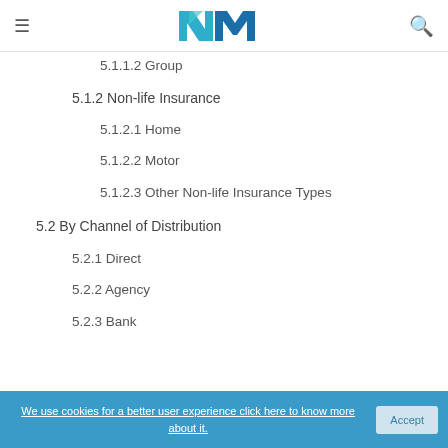Navigation header with logo and search icon
5.1.1.2 Group
5.1.2 Non-life Insurance
5.1.2.1 Home
5.1.2.2 Motor
5.1.2.3 Other Non-life Insurance Types
5.2 By Channel of Distribution
5.2.1 Direct
5.2.2 Agency
5.2.3 Bank
We use cookies for a better user experience click here to know more about it.